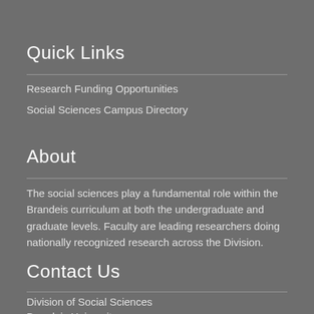Quick Links
Research Funding Opportunities
Social Sciences Campus Directory
About
The social sciences play a fundamental role within the Brandeis curriculum at both the undergraduate and graduate levels. Faculty are leading researchers doing nationally recognized research across the Division.
Contact Us
Division of Social Sciences
Brandeis University